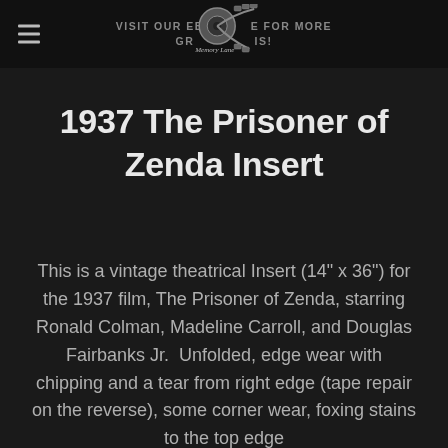VISIT OUR EBAY STORE FOR MORE GREAT ITEMS!
1937 The Prisoner of Zenda Insert
This is a vintage theatrical Insert (14" x 36") for the 1937 film, The Prisoner of Zenda, starring Ronald Colman, Madeline Carroll, and Douglas Fairbanks Jr.  Unfolded, edge wear with chipping and a tear from right edge (tape repair on the reverse), some corner wear, foxing stains to the top edge